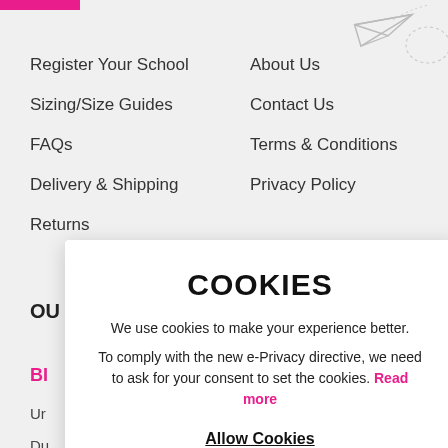Register Your School
Sizing/Size Guides
FAQs
Delivery & Shipping
Returns
About Us
Contact Us
Terms & Conditions
Privacy Policy
OU
BI
Ur
Du
Gr
Be
Scotland
COOKIES
We use cookies to make your experience better.
To comply with the new e-Privacy directive, we need to ask for your consent to set the cookies. Read more
Allow Cookies